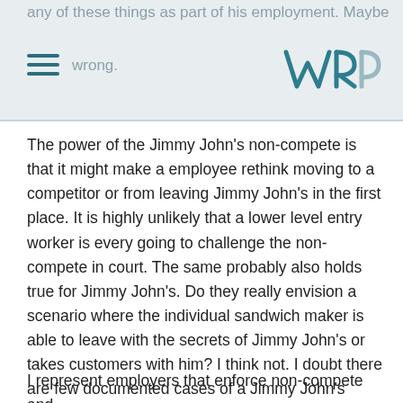any of these things as part of his employment. Maybe wrong.
The power of the Jimmy John's non-compete is that it might make a employee rethink moving to a competitor or from leaving Jimmy John's in the first place. It is highly unlikely that a lower level entry worker is every going to challenge the non-compete in court. The same probably also holds true for Jimmy John's. Do they really envision a scenario where the individual sandwich maker is able to leave with the secrets of Jimmy John's or takes customers with him? I think not. I doubt there are few documented cases of a Jimmy John's employer went to a competitor in a lower level position.
I represent employers that enforce non-compete and